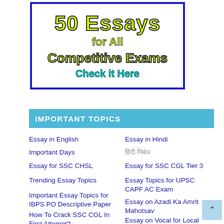[Figure (other): Book/resource banner with blue border showing '50 Essays for All Competitive Exams — Check it Here' in stylized yellow-green and cyan text]
IMPORTANT TOPICS
Essay in English
Essay in Hindi
Important Days
हिंदी निबंध
Essay for SSC CHSL
Essay for SSC CGL Tier 3
Trending Essay Topics
Essay Topics for UPSC CAPF AC Exam
Important Essay Topics for IBPS PO Descriptive Paper
Essay on Azadi Ka Amrit Mahotsav
How To Crack SSC CGL In First Attempt?
Essay on Vocal for Local